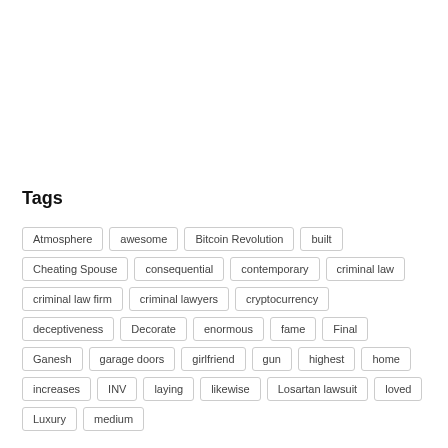Tags
Atmosphere
awesome
Bitcoin Revolution
built
Cheating Spouse
consequential
contemporary
criminal law
criminal law firm
criminal lawyers
cryptocurrency
deceptiveness
Decorate
enormous
fame
Final
Ganesh
garage doors
girlfriend
gun
highest
home
increases
INV
laying
likewise
Losartan lawsuit
loved
Luxury
medium